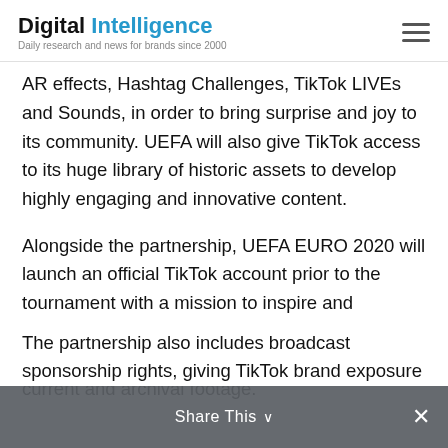Digital Intelligence — Daily research and news for brands since 2000
AR effects, Hashtag Challenges, TikTok LIVEs and Sounds, in order to bring surprise and joy to its community. UEFA will also give TikTok access to its huge library of historic assets to develop highly engaging and innovative content.
Alongside the partnership, UEFA EURO 2020 will launch an official TikTok account prior to the tournament with a mission to inspire and entertain millions of football fans worldwide with exclusive behind-the-scenes content as well as current and archival footage.
The partnership also includes broadcast sponsorship rights, giving TikTok brand exposure
Share This ×